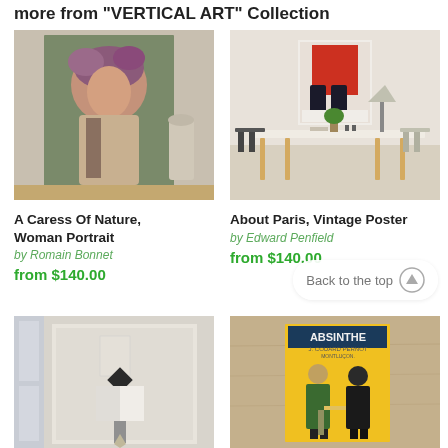more from "VERTICAL ART" Collection
[Figure (photo): A Caress Of Nature, Woman Portrait artwork shown hanging on wall in room setting]
A Caress Of Nature, Woman Portrait
by Romain Bonnet
from $140.00
[Figure (photo): About Paris Vintage Poster artwork shown in modern office/desk room setting]
About Paris, Vintage Poster
by Edward Penfield
from $140.00
[Figure (photo): Abstract geometric artwork with diamond shape shown hanging near window]
[Figure (photo): Absinthe J. Edouard Pernot vintage poster shown on textured wall]